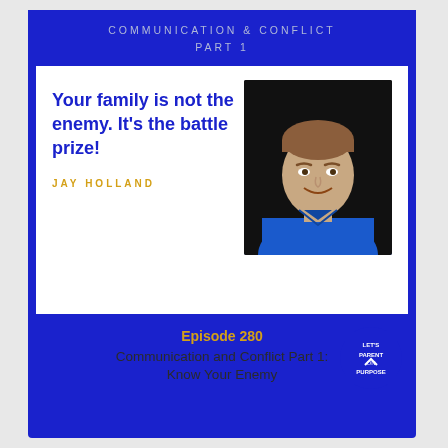COMMUNICATION & CONFLICT
PART 1
Your family is not the enemy. It's the battle prize!
JAY HOLLAND
[Figure (photo): Headshot of Jay Holland, a man in a blue polo shirt against a dark background, smiling]
Episode 280
Communication and Conflict Part 1:
Know Your Enemy
[Figure (logo): Circular blue logo with white text reading NT PURPOSE (partially visible)]